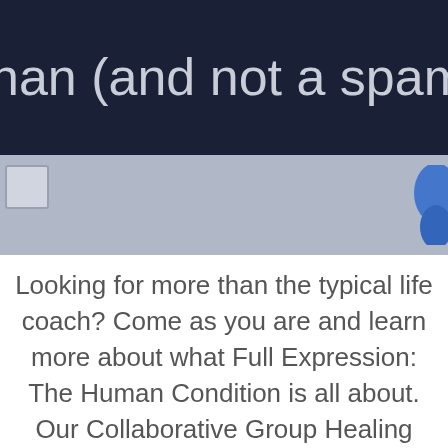nan (and not a spambot).
[Figure (screenshot): Gray bar UI element area with a small checkbox icon on the left and a blue icon partially visible on the right]
Looking for more than the typical life coach? Come as you are and learn more about what Full Expression: The Human Condition is all about. Our Collaborative Group Healing (CGH) approach is designed to develop awareness,